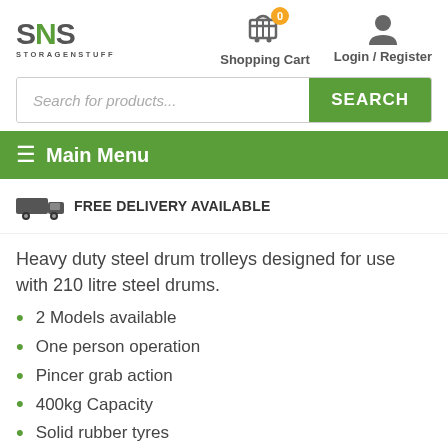[Figure (logo): SNS Storage N Stuff logo in grey and green]
[Figure (illustration): Shopping cart icon with orange badge showing 0]
Shopping Cart
[Figure (illustration): User/person silhouette icon]
Login / Register
Search for products...
≡ Main Menu
[Figure (illustration): Delivery truck icon]
FREE DELIVERY AVAILABLE
Heavy duty steel drum trolleys designed for use with 210 litre steel drums.
2 Models available
One person operation
Pincer grab action
400kg Capacity
Solid rubber tyres
250mm Dia. wheels
Weight up to 34kg